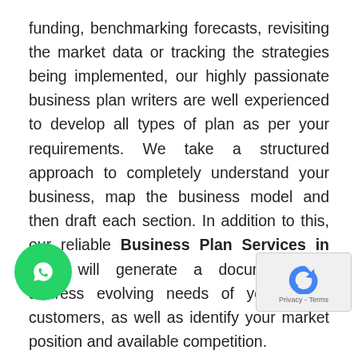funding, benchmarking forecasts, revisiting the market data or tracking the strategies being implemented, our highly passionate business plan writers are well experienced to develop all types of plan as per your requirements. We take a structured approach to completely understand your business, map the business model and then draft each section. In addition to this, our reliable Business Plan Services in UAE will generate a document that address evolving needs of your target customers, as well as identify your market position and available competition.
Over the years, our most sought-after Business Plan Services in UAE has written several successful plans that drive sustainable changes to various organizations across diverse industries that contribute long-term value and continuous growth. The essence of our Business Plan...